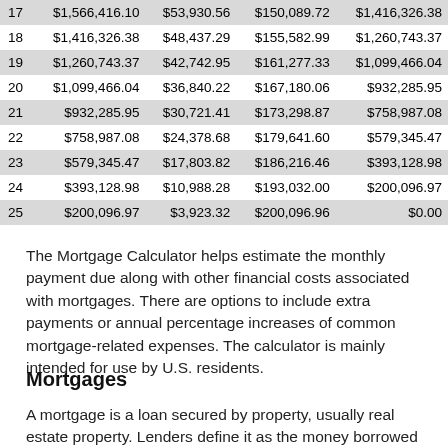|  | Beginning Balance | Interest | Principal | Ending Balance |
| --- | --- | --- | --- | --- |
| 17 | $1,566,416.10 | $53,930.56 | $150,089.72 | $1,416,326.38 |
| 18 | $1,416,326.38 | $48,437.29 | $155,582.99 | $1,260,743.37 |
| 19 | $1,260,743.37 | $42,742.95 | $161,277.33 | $1,099,466.04 |
| 20 | $1,099,466.04 | $36,840.22 | $167,180.06 | $932,285.95 |
| 21 | $932,285.95 | $30,721.41 | $173,298.87 | $758,987.08 |
| 22 | $758,987.08 | $24,378.68 | $179,641.60 | $579,345.47 |
| 23 | $579,345.47 | $17,803.82 | $186,216.46 | $393,128.98 |
| 24 | $393,128.98 | $10,988.28 | $193,032.00 | $200,096.97 |
| 25 | $200,096.97 | $3,923.32 | $200,096.96 | $0.00 |
The Mortgage Calculator helps estimate the monthly payment due along with other financial costs associated with mortgages. There are options to include extra payments or annual percentage increases of common mortgage-related expenses. The calculator is mainly intended for use by U.S. residents.
Mortgages
A mortgage is a loan secured by property, usually real estate property. Lenders define it as the money borrowed to